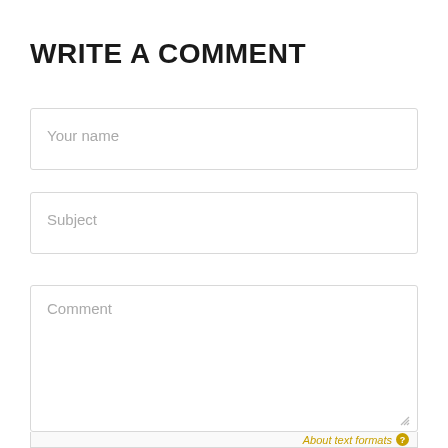WRITE A COMMENT
Your name
Subject
Comment
About text formats ?